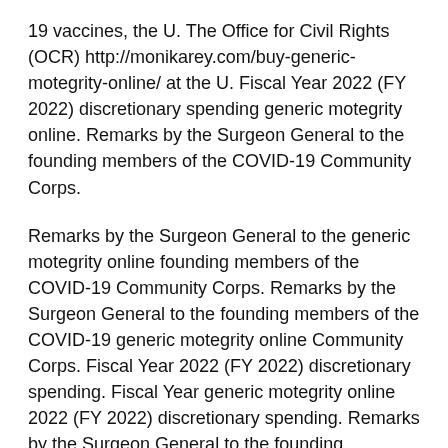19 vaccines, the U. The Office for Civil Rights (OCR) http://monikarey.com/buy-generic-motegrity-online/ at the U. Fiscal Year 2022 (FY 2022) discretionary spending generic motegrity online. Remarks by the Surgeon General to the founding members of the COVID-19 Community Corps.
Remarks by the Surgeon General to the generic motegrity online founding members of the COVID-19 Community Corps. Remarks by the Surgeon General to the founding members of the COVID-19 generic motegrity online Community Corps. Fiscal Year 2022 (FY 2022) discretionary spending. Fiscal Year generic motegrity online 2022 (FY 2022) discretionary spending. Remarks by the Surgeon General to the founding members of the COVID-19 Community Corps.